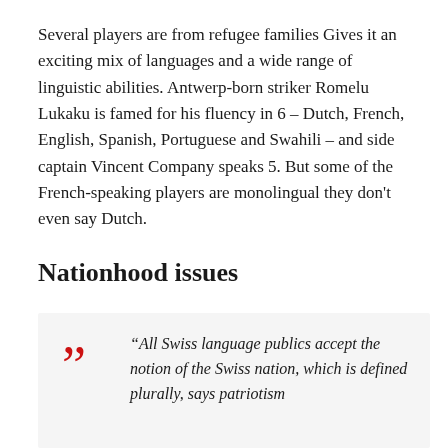Several players are from refugee families Gives it an exciting mix of languages and a wide range of linguistic abilities. Antwerp-born striker Romelu Lukaku is famed for his fluency in 6 – Dutch, French, English, Spanish, Portuguese and Swahili – and side captain Vincent Company speaks 5. But some of the French-speaking players are monolingual they don't even say Dutch.
Nationhood issues
“All Swiss language publics accept the notion of the Swiss nation, which is defined plurally, says patriotism